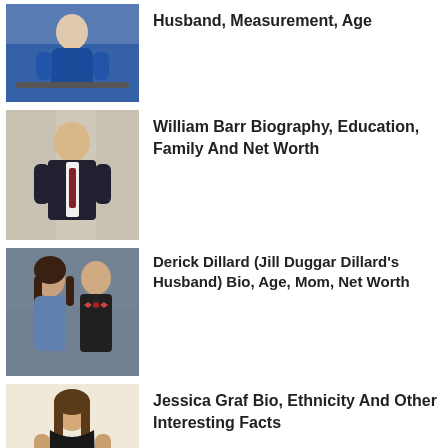[Figure (photo): Woman in blue dress seated at desk]
Husband, Measurement, Age
[Figure (photo): William Barr in suit with red tie standing outside]
William Barr Biography, Education, Family And Net Worth
[Figure (photo): Derick Dillard and Jill Duggar Dillard couple photo]
Derick Dillard (Jill Duggar Dillard's Husband) Bio, Age, Mom, Net Worth
[Figure (photo): Jessica Graf posing in black outfit]
Jessica Graf Bio, Ethnicity And Other Interesting Facts